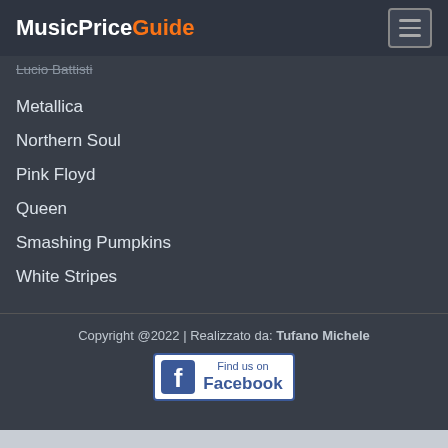MusicPriceGuide
Lucio Battisti
Metallica
Northern Soul
Pink Floyd
Queen
Smashing Pumpkins
White Stripes
Copyright @2022 | Realizzato da: Tufano Michele
[Figure (logo): Find us on Facebook badge with Facebook icon]